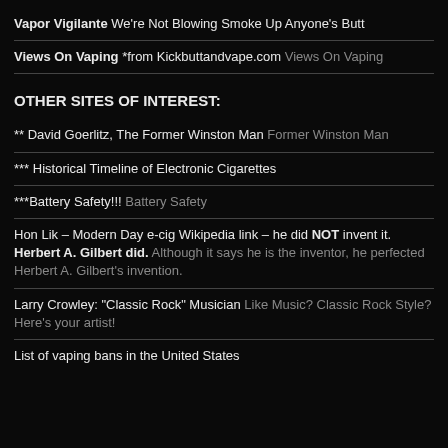Vapor Vigilante We're Not Blowing Smoke Up Anyone's Butt
Views On Vaping *from Kickbuttandvape.com Views On Vaping
OTHER SITES OF INTEREST:
** David Goerlitz, The Former Winston Man Former Winston Man
*** Historical Timeline of Electronic Cigarettes
***Battery Safety!!! Battery Safety
Hon Lik – Modern Day e-cig Wikipedia link – he did NOT invent it. Herbert A. Gilbert did. Although it says he is the inventor, he perfected Herbert A. Gilbert's invention.
Larry Crowley: "Classic Rock" Musician Like Music? Classic Rock Style? Here's your artist!
List of vaping bans in the United States